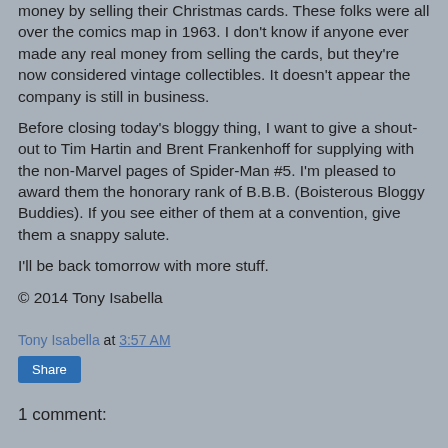money by selling their Christmas cards. These folks were all over the comics map in 1963. I don't know if anyone ever made any real money from selling the cards, but they're now considered vintage collectibles. It doesn't appear the company is still in business.
Before closing today's bloggy thing, I want to give a shout-out to Tim Hartin and Brent Frankenhoff for supplying with the non-Marvel pages of Spider-Man #5. I'm pleased to award them the honorary rank of B.B.B. (Boisterous Bloggy Buddies). If you see either of them at a convention, give them a snappy salute.
I'll be back tomorrow with more stuff.
© 2014 Tony Isabella
Tony Isabella at 3:57 AM
Share
1 comment: